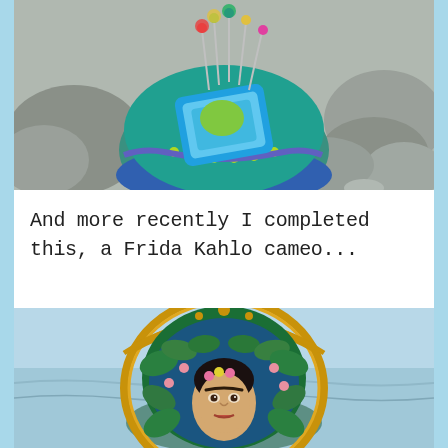[Figure (photo): A crocheted pincushion in shades of blue, teal, and green with pins sticking out of the top, sitting on rocky stones outdoors.]
And more recently I completed this, a Frida Kahlo cameo...
[Figure (photo): A crocheted Frida Kahlo cameo brooch with an ornate golden frame, green foliage, pink flowers, and a portrait of Frida Kahlo's face, photographed against a light blue sky with ocean in the background.]